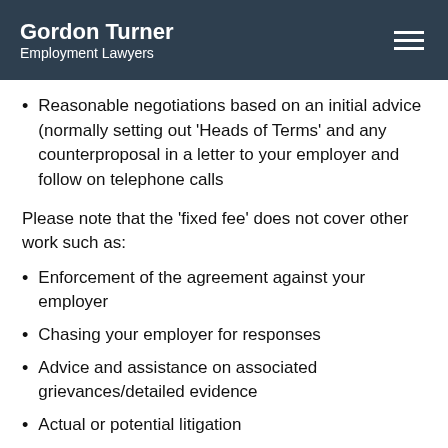Gordon Turner
Employment Lawyers
Reasonable negotiations based on an initial advice (normally setting out ‘Heads of Terms’ and any counterproposal in a letter to your employer and follow on telephone calls
Please note that the ‘fixed fee’ does not cover other work such as:
Enforcement of the agreement against your employer
Chasing your employer for responses
Advice and assistance on associated grievances/detailed evidence
Actual or potential litigation
Scope of work/Tax/Calculations of any payments